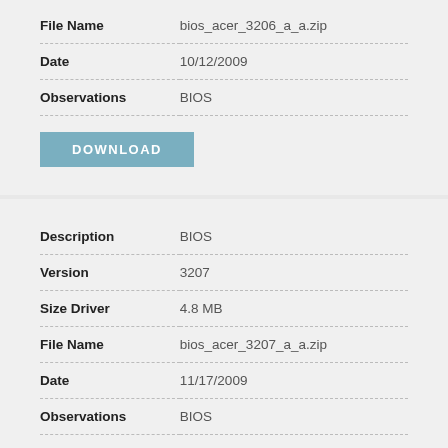| File Name | bios_acer_3206_a_a.zip |
| Date | 10/12/2009 |
| Observations | BIOS |
DOWNLOAD
| Description | BIOS |
| Version | 3207 |
| Size Driver | 4.8 MB |
| File Name | bios_acer_3207_a_a.zip |
| Date | 11/17/2009 |
| Observations | BIOS |
DOWNLOAD